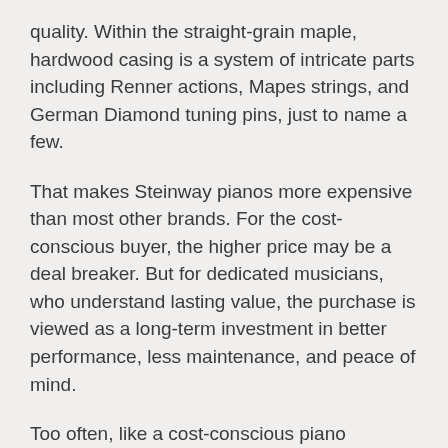quality. Within the straight-grain maple, hardwood casing is a system of intricate parts including Renner actions, Mapes strings, and German Diamond tuning pins, just to name a few.
That makes Steinway pianos more expensive than most other brands. For the cost-conscious buyer, the higher price may be a deal breaker. But for dedicated musicians, who understand lasting value, the purchase is viewed as a long-term investment in better performance, less maintenance, and peace of mind.
Too often, like a cost-conscious piano shopper, dentists are fixated on getting the lowest rate for asset management and financial planning services. They expend time and energy searching for the lowest fee while giving little thought to the quality of service or the long-term outcomes they'll get in return.
Unfortunately, the basis for this approach is a